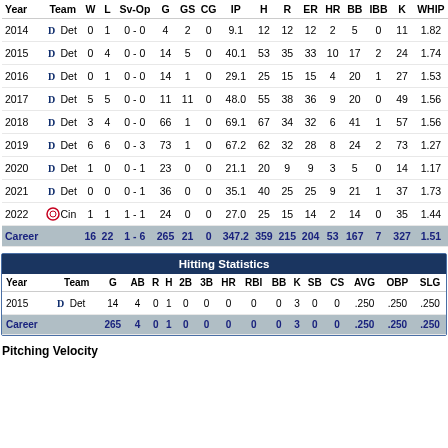| Year | Team | W | L | Sv-Op | G | GS | CG | IP | H | R | ER | HR | BB | IBB | K | WHIP |
| --- | --- | --- | --- | --- | --- | --- | --- | --- | --- | --- | --- | --- | --- | --- | --- | --- |
| 2014 | Det | 0 | 1 | 0 - 0 | 4 | 2 | 0 | 9.1 | 12 | 12 | 12 | 2 | 5 | 0 | 11 | 1.82 |
| 2015 | Det | 0 | 4 | 0 - 0 | 14 | 5 | 0 | 40.1 | 53 | 35 | 33 | 10 | 17 | 2 | 24 | 1.74 |
| 2016 | Det | 0 | 1 | 0 - 0 | 14 | 1 | 0 | 29.1 | 25 | 15 | 15 | 4 | 20 | 1 | 27 | 1.53 |
| 2017 | Det | 5 | 5 | 0 - 0 | 11 | 11 | 0 | 48.0 | 55 | 38 | 36 | 9 | 20 | 0 | 49 | 1.56 |
| 2018 | Det | 3 | 4 | 0 - 0 | 66 | 1 | 0 | 69.1 | 67 | 34 | 32 | 6 | 41 | 1 | 57 | 1.56 |
| 2019 | Det | 6 | 6 | 0 - 3 | 73 | 1 | 0 | 67.2 | 62 | 32 | 28 | 8 | 24 | 2 | 73 | 1.27 |
| 2020 | Det | 1 | 0 | 0 - 1 | 23 | 0 | 0 | 21.1 | 20 | 9 | 9 | 3 | 5 | 0 | 14 | 1.17 |
| 2021 | Det | 0 | 0 | 0 - 1 | 36 | 0 | 0 | 35.1 | 40 | 25 | 25 | 9 | 21 | 1 | 37 | 1.73 |
| 2022 | Cin | 1 | 1 | 1 - 1 | 24 | 0 | 0 | 27.0 | 25 | 15 | 14 | 2 | 14 | 0 | 35 | 1.44 |
| Career |  | 16 | 22 | 1 - 6 | 265 | 21 | 0 | 347.2 | 359 | 215 | 204 | 53 | 167 | 7 | 327 | 1.51 |
| Year | Team | G | AB | R | H | 2B | 3B | HR | RBI | BB | K | SB | CS | AVG | OBP | SLG |
| --- | --- | --- | --- | --- | --- | --- | --- | --- | --- | --- | --- | --- | --- | --- | --- | --- |
| 2015 | Det | 14 | 4 | 0 | 1 | 0 | 0 | 0 | 0 | 0 | 3 | 0 | 0 | .250 | .250 | .250 |
| Career |  | 265 | 4 | 0 | 1 | 0 | 0 | 0 | 0 | 0 | 3 | 0 | 0 | .250 | .250 | .250 |
Pitching Velocity